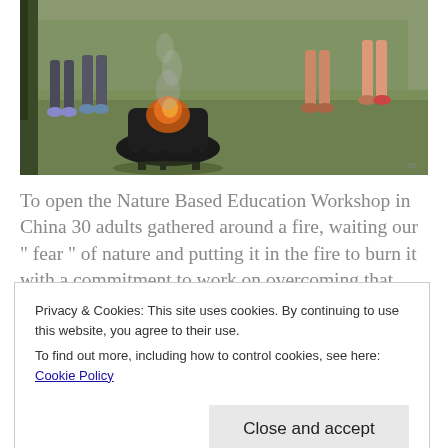[Figure (photo): Outdoor photo showing people standing around a fire pit/brazier on grass, with smoke rising. People's legs and feet visible, trees in background.]
To open the Nature Based Education Workshop in China 30 adults gathered around a fire, waiting our “ fear ” of nature and putting it in the fire to burn it with a commitment to work on overcoming that fear. Feeding the fire, smelling the smoke, and then leaping over the fire were all
Privacy & Cookies: This site uses cookies. By continuing to use this website, you agree to their use.
To find out more, including how to control cookies, see here: Cookie Policy
Close and accept